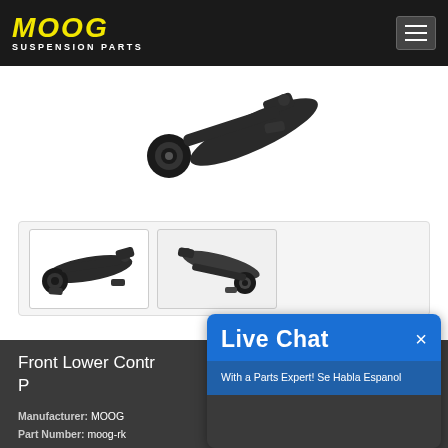MOOG SUSPENSION PARTS
[Figure (photo): Close-up photo of a black control arm suspension part with bushing]
[Figure (photo): Two thumbnail images of front lower control arm assembly parts]
Front Lower Control Arm with Ball Joint Assembly - Part ...
Manufacturer: MOOG
Part Number: moog-rk...
[Figure (screenshot): Live Chat popup overlay with text 'Live Chat' and 'With a Parts Expert! Se Habla Espanol']